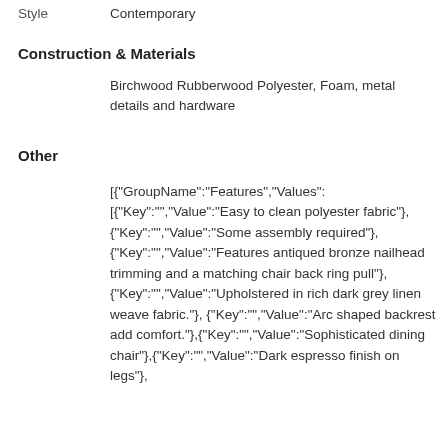Style    Contemporary
Construction & Materials
Birchwood Rubberwood Polyester, Foam, metal details and hardware
Other
[{"GroupName":"Features","Values": [{"Key":"","Value":"Easy to clean polyester fabric"},{"Key":"","Value":"Some assembly required"},{"Key":"","Value":"Features antiqued bronze nailhead trimming and a matching chair back ring pull"}, {"Key":"","Value":"Upholstered in rich dark grey linen weave fabric."}, {"Key":"","Value":"Arc shaped backrest add comfort."},{"Key":"","Value":"Sophisticated dining chair"},{"Key":"","Value":"Dark espresso finish on legs"},